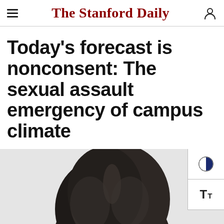The Stanford Daily
Today’s forecast is nonconsent: The sexual assault emergency of campus climate
[Figure (photo): Partial view of a person with dark hair, head cropped, shown from shoulders up against a light grey background. UI controls for contrast and text size overlay the right side.]